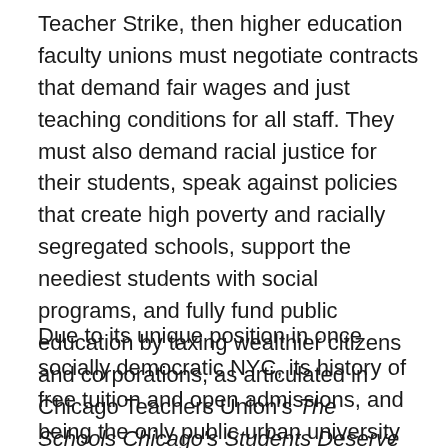Teacher Strike, then higher education faculty unions must negotiate contracts that demand fair wages and just teaching conditions for all staff. They must also demand racial justice for their students, speak against policies that create high poverty and racially segregated schools, support the neediest students with social programs, and fully fund public education by taxing wealthier citizens and corporations, as articulated in Chicago Teachers Union's The Schools Chicago's Students Deserve (2012). Working together, faculty and students can build long-term relationships in the community to forge solidarity across workers.
Due to its unique position in once socially democratic NYC, its history of free tuition and open admissions, and being the only public urban university system in the country, CUNY has a key role to play in shaping the future of public higher education. As Cary Nelson